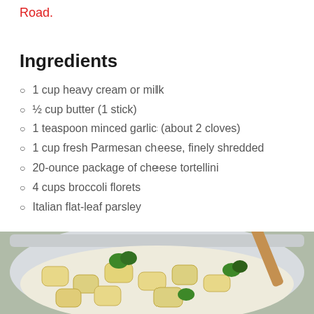Road.
Ingredients
1 cup heavy cream or milk
½ cup butter (1 stick)
1 teaspoon minced garlic (about 2 cloves)
1 cup fresh Parmesan cheese, finely shredded
20-ounce package of cheese tortellini
4 cups broccoli florets
Italian flat-leaf parsley
[Figure (photo): A pot with cheese tortellini and broccoli florets being stirred with a wooden spoon]